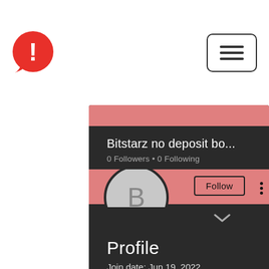[Figure (logo): Red circular exclamation mark logo icon]
[Figure (other): Hamburger menu button with three horizontal lines inside a rounded rectangle border]
[Figure (other): User profile panel on dark background with salmon/pink cover photo, circular avatar with letter B, Follow button, three-dot menu]
Bitstarz no deposit bo...
0 Followers • 0 Following
Profile
Join date: Jun 19, 2022